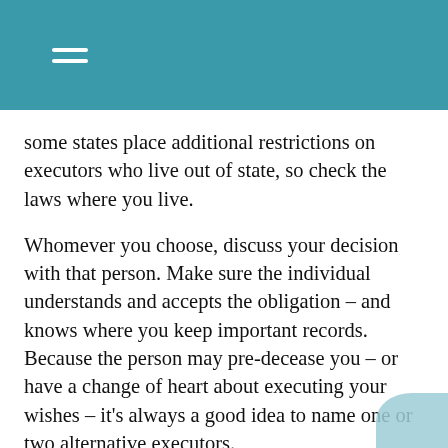some states place additional restrictions on executors who live out of state, so check the laws where you live.
Whomever you choose, discuss your decision with that person. Make sure the individual understands and accepts the obligation – and knows where you keep important records. Because the person may pre-decease you – or have a change of heart about executing your wishes – it's always a good idea to name one or two alternative executors.
The period following the death of a loved one is a stressful time and can be confusing for family members. Choosing the right executor can help ensure that the distribution of your assets may be done